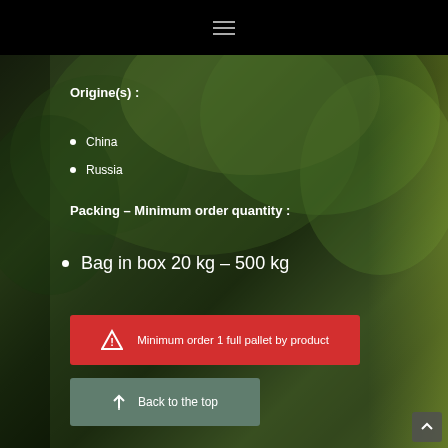≡
[Figure (photo): Background photo of green forest/tree canopy viewed from below, dark overlay applied]
Origine(s) :
China
Russia
Packing – Minimum order quantity :
Bag in box 20 kg – 500 kg
Minimum order 1 full pallet by product
Back to the top